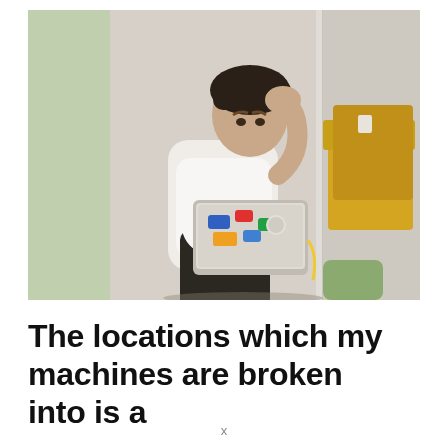[Figure (photo): A young man sitting at a small round table in an office lounge, leaning his head on one hand looking stressed at a sticker-covered laptop. Background shows a partition wall with yellow booth seating on the right side.]
The locations which my machines are broken into is a